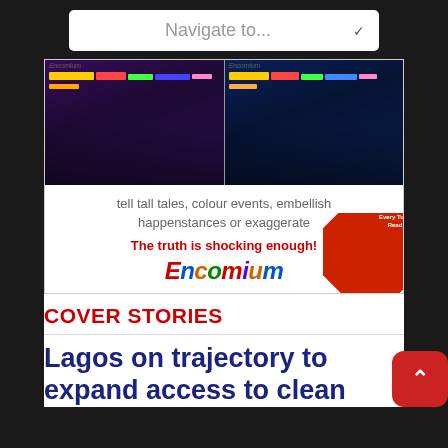[Figure (screenshot): Navigation dropdown bar with 'Navigate to...' placeholder text and a chevron arrow on black background]
[Figure (photo): Encomium magazine advertisement showing two magazine covers side by side with colorful layouts, tagline 'tell tall tales, colour events, embellish happenstances or exaggerate', red text 'The truth is shocking enough!', colorful Encomium logo, and red diagonal ribbon in corner]
COVER STORIES
Lagos on trajectory to expand access to clean